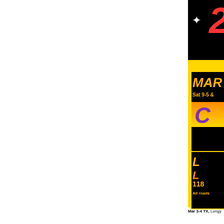[Figure (illustration): Partially visible event flyer/advertisement on right side. Black background top section with red italic number and white sparkle star. Yellow background panel. Black bordered section with gold/orange text 'MAR' (truncated), 'Sat 9-5 &' (truncated), orange gradient bar with large purple italic letter. Lower black bordered section with orange/gold large italic letters 'L', 'L', '118' (all truncated), and 'All roads' (truncated) text. Bottom footer text 'Mar 3-4 TX, Longy' (truncated).]